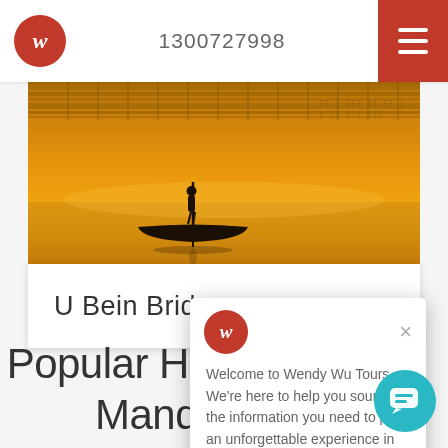Wendy Wu Tours — 1300727998
[Figure (photo): Golden-toned silhouette photo of a person standing on a long narrow boat on calm water, with ornate carved wooden details visible at top (U Bein Bridge), warm amber/golden color scheme, Myanmar travel photography]
U Bein Bridge
[Figure (screenshot): Chat popup overlay from Wendy Wu Tours website showing company logo (red circle with italic W), close button (×), and welcome message text]
Welcome to Wendy Wu Tours. We're here to help you source all the information you need to plan an unforgettable experience in Southeast Asia.
Popular Holidays to Mandalay